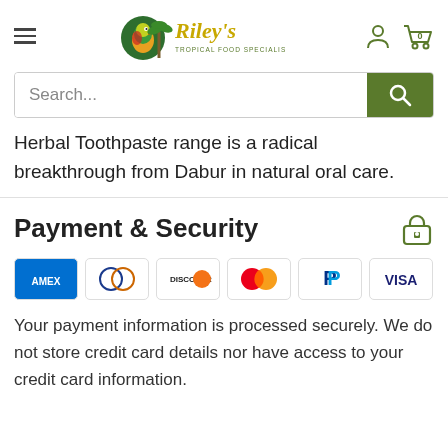[Figure (logo): Riley's Tropical Food Specialists logo with parrot and palm tree]
[Figure (screenshot): Search bar with green search button]
Herbal Toothpaste range is a radical breakthrough from Dabur in natural oral care.
Payment & Security
[Figure (infographic): Payment method icons: Amex, Diners Club, Discover, Mastercard, PayPal, Visa]
Your payment information is processed securely. We do not store credit card details nor have access to your credit card information.